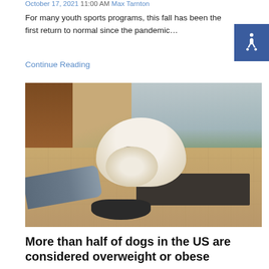October 17, 2021 11:00 AM Max Tarnton
For many youth sports programs, this fall has been the first return to normal since the pandemic…
Continue Reading
[Figure (photo): A pug/bulldog eating from a slow-feeder bowl held by a person in a grey sweater, near a sliding glass door]
More than half of dogs in the US are considered overweight or obese